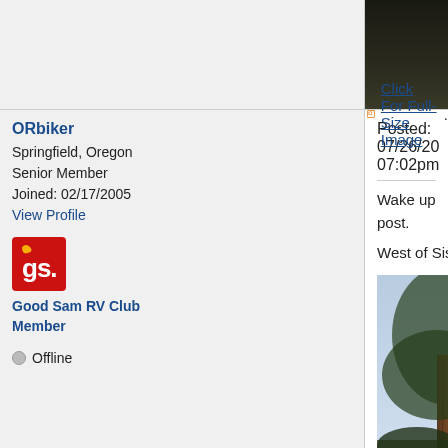[Figure (photo): Dark background image at top right, partial photo]
Click For Full-Size Image.
ORbiker
Springfield, Oregon
Senior Member
Joined: 02/17/2005
View Profile
[Figure (logo): Good Sam RV Club red square badge with gs logo]
Good Sam RV Club Member
Offline
Posted: 07/26/20 07:02pm
Wake up post.
West of Sisters, Oregon on Memorial Day weekend
[Figure (photo): Tall pine trees forest photo, West of Sisters, Oregon, Memorial Day weekend]